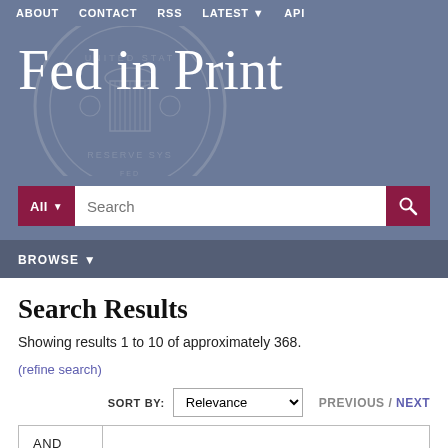ABOUT   CONTACT   RSS   LATEST▼   API
Fed in Print
[Figure (logo): Federal Reserve seal watermark in background]
Search Results
Showing results 1 to 10 of approximately 368.
(refine search)
SORT BY: Relevance   PREVIOUS / NEXT
AND
+ Add Search Parameter